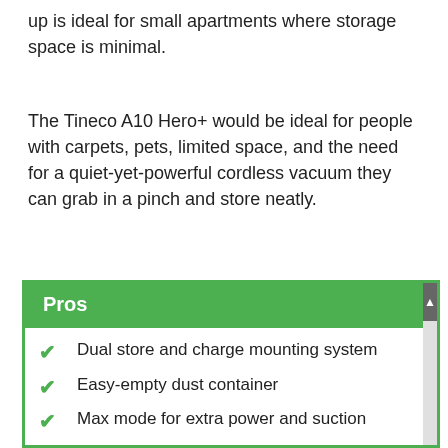up is ideal for small apartments where storage space is minimal.
The Tineco A10 Hero+ would be ideal for people with carpets, pets, limited space, and the need for a quiet-yet-powerful cordless vacuum they can grab in a pinch and store neatly.
| Pros |
| --- |
| Dual store and charge mounting system |
| Easy-empty dust container |
| Max mode for extra power and suction |